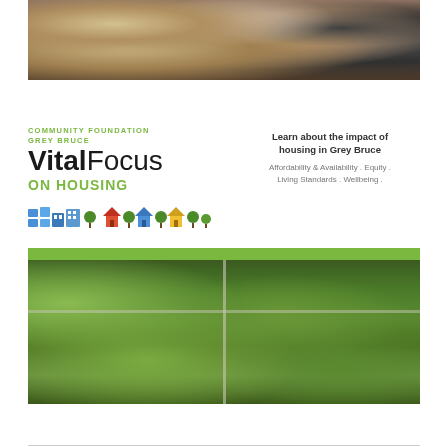[Figure (photo): Top photo showing students/young people at a table in an indoor setting, one looking down, one girl in red smiling, and another person partially visible on the right.]
[Figure (infographic): Community Foundation Grey Bruce VitalFocus on Housing banner with logo, house icons, and text: Learn about the impact of housing in Grey Bruce. Affordability & Availability . Equity . Living Standards . Wellbeing .]
[Figure (photo): Aerial photo of a residential neighbourhood with tree-lined streets, houses, and intersecting roads visible from above.]